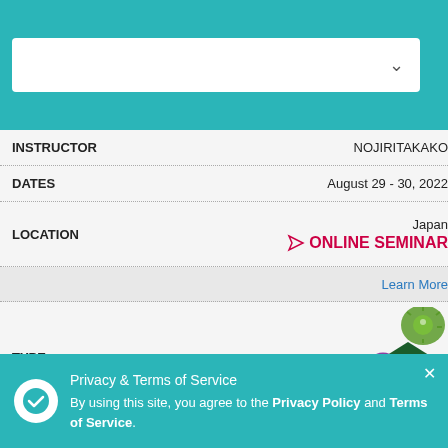[Figure (screenshot): Top teal/cyan navigation bar with a white dropdown box containing a chevron arrow]
| Field | Value |
| --- | --- |
| INSTRUCTOR | NOJIRITAKAKO |
| DATES | August 29 - 30, 2022 |
| LOCATION | Japan / ONLINE SEMINAR |
|  | Learn More |
| TYPE | DISEASE & DISORDER badge |
| INSTRUCTOR | Katsumi Ifuku |
| DATES | August 29 - September 9, 2022 |
| LOCATION | Japan / ONLINE SEMINAR |
Privacy & Terms of Service
By using this site, you agree to the Privacy Policy and Terms of Service.